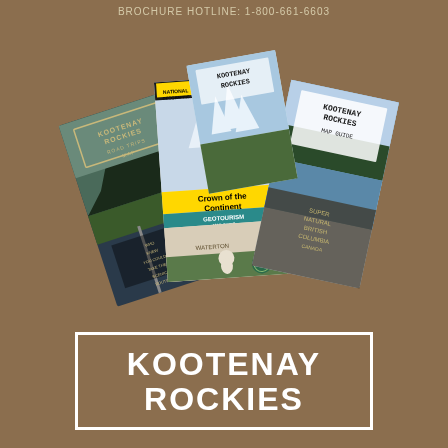Brochure Hotline: 1-800-661-6603
[Figure (illustration): Four Kootenay Rockies map brochures fanned out: Road Trips Map, Crown of the Continent Geotourism Map Guide (National Geographic), and Kootenay Rockies Map Guide, displayed on a brown textured background]
KOOTENAY ROCKIES